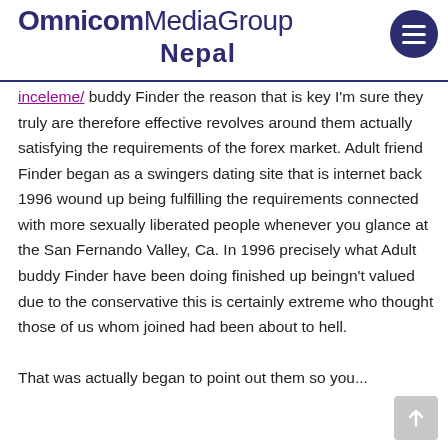OmnicomMediaGroup Nepal
inceleme/ buddy Finder the reason that is key I'm sure they truly are therefore effective revolves around them actually satisfying the requirements of the forex market. Adult friend Finder began as a swingers dating site that is internet back 1996 wound up being fulfilling the requirements connected with more sexually liberated people whenever you glance at the San Fernando Valley, Ca. In 1996 precisely what Adult buddy Finder have been doing finished up beingn't valued due to the conservative this is certainly extreme who thought those of us whom joined had been about to hell. That was actually began to point out them so you...